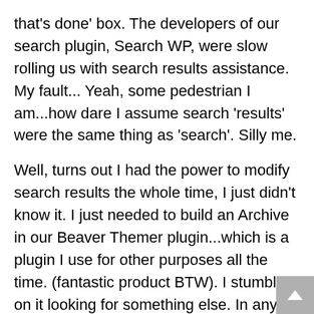that's done' box. The developers of our search plugin, Search WP, were slow rolling us with search results assistance. My fault... Yeah, some pedestrian I am...how dare I assume search 'results' were the same thing as 'search'. Silly me.
Well, turns out I had the power to modify search results the whole time, I just didn't know it. I just needed to build an Archive in our Beaver Themer plugin...which is a plugin I use for other purposes all the time. (fantastic product BTW). I stumbled on it looking for something else. In any case, now our search results are quick, show products before posts, and have pricing and shopping options right there in the results. Just what I wanted. If you have a few seconds, take the search for a